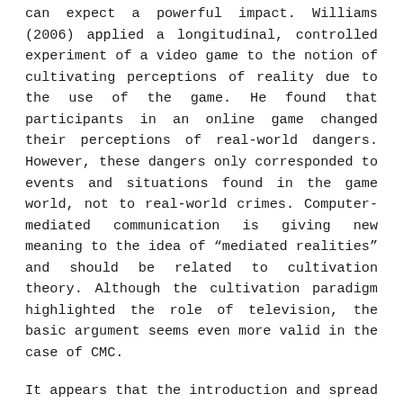can expect a powerful impact. Williams (2006) applied a longitudinal, controlled experiment of a video game to the notion of cultivating perceptions of reality due to the use of the game. He found that participants in an online game changed their perceptions of real-world dangers. However, these dangers only corresponded to events and situations found in the game world, not to real-world crimes. Computer-mediated communication is giving new meaning to the idea of "mediated realities" and should be related to cultivation theory. Although the cultivation paradigm highlighted the role of television, the basic argument seems even more valid in the case of CMC.
It appears that the introduction and spread of modern communication technologies and applications such as computer-mediated communication will only enhance the necessity of studying the role of entertainment media